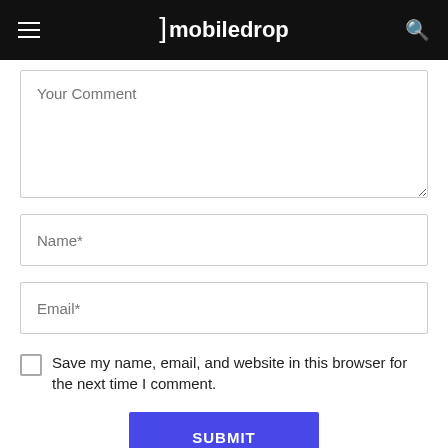mobiledrop
Your Comment
Name*
Email*
Save my name, email, and website in this browser for the next time I comment.
SUBMIT